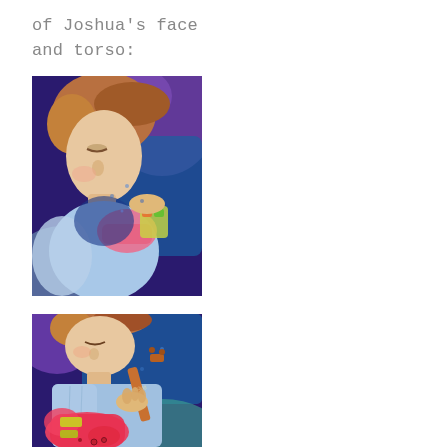of Joshua's face
and torso:
[Figure (illustration): Painted/quilted art image of a boy (Joshua) looking down at his face and upper torso, with colorful fabric quilt-style background in blues and purples, close-up crop showing face and holding something pink]
[Figure (illustration): Painted/quilted art image of a boy (Joshua) showing torso holding a pink electric guitar, colorful quilt-style background in blues and purples]